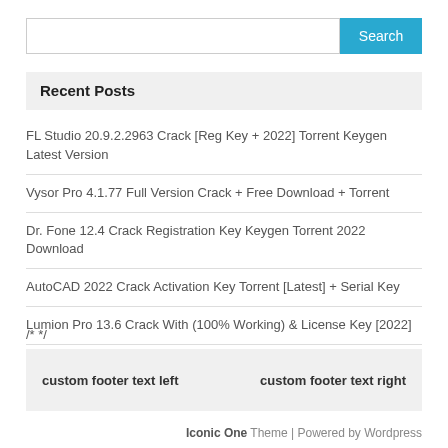Search
Recent Posts
FL Studio 20.9.2.2963 Crack [Reg Key + 2022] Torrent Keygen Latest Version
Vysor Pro 4.1.77 Full Version Crack + Free Download + Torrent
Dr. Fone 12.4 Crack Registration Key Keygen Torrent 2022 Download
AutoCAD 2022 Crack Activation Key Torrent [Latest] + Serial Key
Lumion Pro 13.6 Crack With (100% Working) & License Key [2022]
/* */
custom footer text left     custom footer text right
Iconic One Theme | Powered by Wordpress